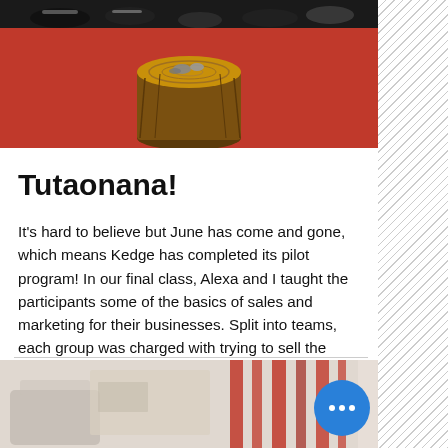[Figure (photo): Top photo showing rocks and wood stump on red floor, with shoes visible at the top edge. People's feet in sandals and shoes can be seen.]
Tutaonana!
It's hard to believe but June has come and gone, which means Kedge has completed its pilot program! In our final class, Alexa and I taught the participants some of the basics of sales and marketing for their businesses. Split into teams, each group was charged with trying to sell the other a mystery product (that turned out to be rocks and wood!). Armed with what they learned in class, our students had to rely on their sales abilities and marketing to convince the other team
[Figure (photo): Bottom partial photo showing an interior scene with red curtain-like stripes and some furniture, with a blue circular button with three dots overlaid.]